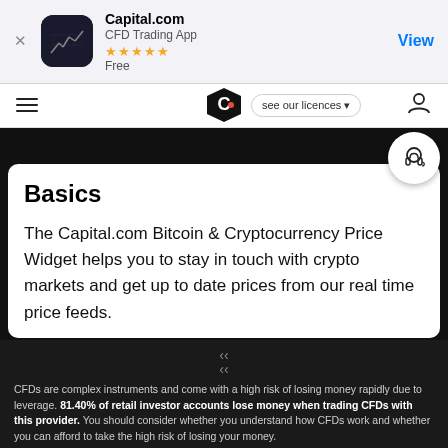[Figure (screenshot): App Store banner showing Capital.com CFD Trading App with 5-star rating, Free, and View button]
[Figure (screenshot): Navigation bar with hamburger menu, Capital.com logo (C shield), 'see our licences' dropdown, and user icon]
Basics
The Capital.com Bitcoin & Cryptocurrency Price Widget helps you to stay in touch with crypto markets and get up to date prices from our real time price feeds.
CFDs are complex instruments and come with a high risk of losing money rapidly due to leverage. 81.40% of retail investor accounts lose money when trading CFDs with this provider. You should consider whether you understand how CFDs work and whether you can afford to take the high risk of losing your money.
By using the Capital.com website you agree to the use of cookies.